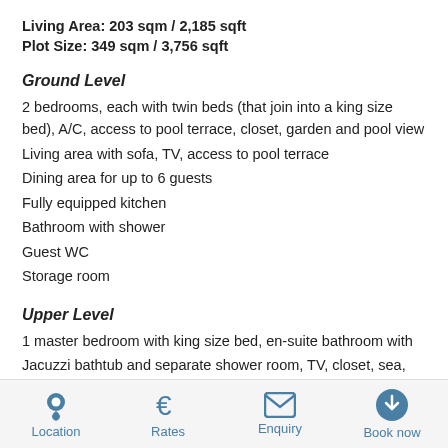Living Area: 203 sqm / 2,185 sqft
Plot Size: 349 sqm / 3,756 sqft
Ground Level
2 bedrooms, each with twin beds (that join into a king size bed), A/C, access to pool terrace, closet, garden and pool view
Living area with sofa, TV, access to pool terrace
Dining area for up to 6 guests
Fully equipped kitchen
Bathroom with shower
Guest WC
Storage room
Upper Level
1 master bedroom with king size bed, en-suite bathroom with Jacuzzi bathtub and separate shower room, TV, closet, sea,
Location  Rates  Enquiry  Book now